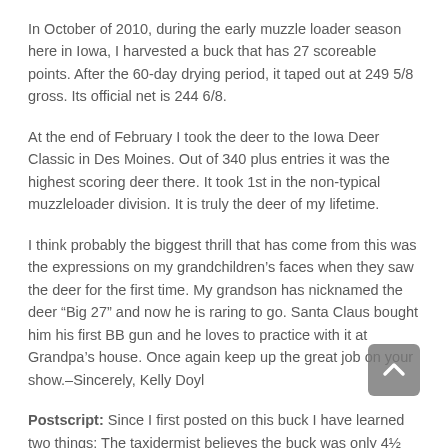In October of 2010, during the early muzzle loader season here in Iowa, I harvested a buck that has 27 scoreable points. After the 60-day drying period, it taped out at 249 5/8 gross. Its official net is 244 6/8.
At the end of February I took the deer to the Iowa Deer Classic in Des Moines. Out of 340 plus entries it was the highest scoring deer there. It took 1st in the non-typical muzzleloader division. It is truly the deer of my lifetime.
I think probably the biggest thrill that has come from this was the expressions on my grandchildren’s faces when they saw the deer for the first time. My grandson has nicknamed the deer “Big 27” and now he is raring to go. Santa Claus bought him his first BB gun and he loves to practice with it at Grandpa’s house. Once again keep up the great job on your show.–Sincerely, Kelly Doyl
Postscript: Since I first posted on this buck I have learned two things: The taxidermist believes the buck was only 4½ years old when Kelly shot it. And a landowner in the